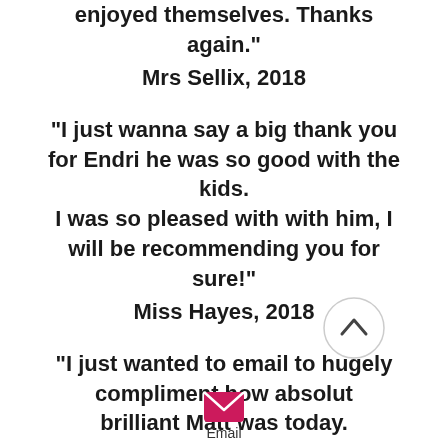enjoyed themselves. Thanks again."
Mrs Sellix, 2018
"I just wanna say a big thank you for Endri he was so good with the kids.
I was so pleased with with him, I will be recommending you for sure!"
Miss Hayes, 2018
"I just wanted to email to hugely compliment how absolut brilliant Matt was today.
[Figure (other): Back to top circular chevron button]
[Figure (other): Email icon (pink/magenta envelope) with label 'Email' below]